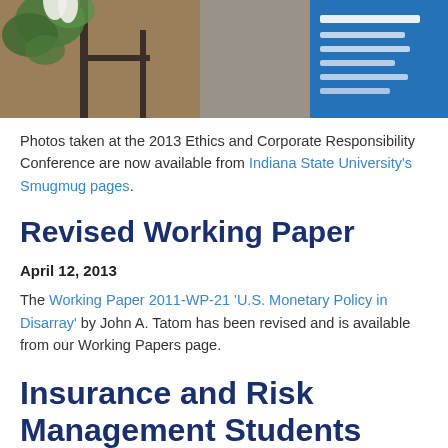[Figure (photo): Photo from the 2013 Ethics and Corporate Responsibility Conference showing plants, a door, and a blue display board.]
Photos taken at the 2013 Ethics and Corporate Responsibility Conference are now available from Indiana State University's Smugmug pages.
Revised Working Paper
April 12, 2013
The Working Paper 2011-WP-21 'U.S. Monetary Policy in Disarray' by John A. Tatom has been revised and is available from our Working Papers page.
Insurance and Risk Management Students Garner National Scholarships